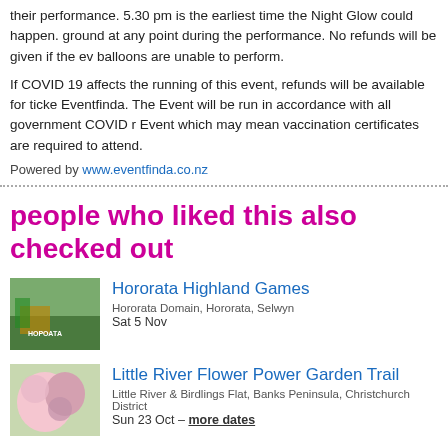their performance. 5.30 pm is the earliest time the Night Glow could happen. ground at any point during the performance. No refunds will be given if the event balloons are unable to perform.
If COVID 19 affects the running of this event, refunds will be available for tickets purchased through Eventfinda. The Event will be run in accordance with all government COVID requirements at the time of the Event which may mean vaccination certificates are required to attend.
Powered by www.eventfinda.co.nz
people who liked this also checked out
Hororata Highland Games
Hororata Domain, Hororata, Selwyn
Sat 5 Nov
Little River Flower Power Garden Trail
Little River & Birdlings Flat, Banks Peninsula, Christchurch District
Sun 23 Oct – more dates
Christchurch Armageddon Expo 2022
Te Pae Convention Centre, Christchurch
Sun 11 Dec – more dates